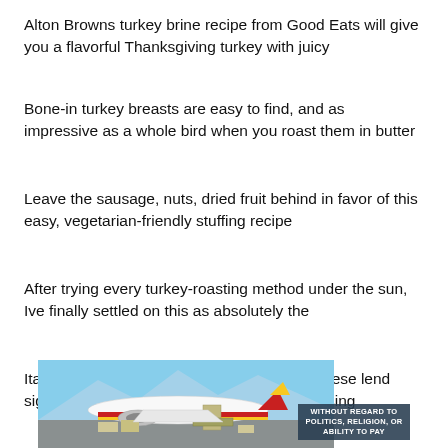Alton Browns turkey brine recipe from Good Eats will give you a flavorful Thanksgiving turkey with juicy
Bone-in turkey breasts are easy to find, and as impressive as a whole bird when you roast them in butter
Leave the sausage, nuts, dried fruit behind in favor of this easy, vegetarian-friendly stuffing recipe
After trying every turkey-roasting method under the sun, Ive finally settled on this as absolutely the
Italian sausage and a heap of Parmesan cheese lend signature flair to the easy Thanksgiving dressing
[Figure (photo): Airplane being loaded with cargo on tarmac, with an overlaid badge reading WITHOUT REGARD TO POLITICS, RELIGION, OR ABILITY TO PAY]